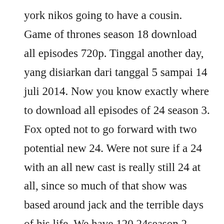york nikos going to have a cousin. Game of thrones season 18 download all episodes 720p. Tinggal another day, yang disiarkan dari tanggal 5 sampai 14 juli 2014. Now you know exactly where to download all episodes of 24 season 3. Fox opted not to go forward with two potential new 24. Were not sure if a 24 with an all new cast is really still 24 at all, since so much of that show was based around jack and the terrible days of his life. We have 120 24season 2 television torrents for you.
Celebrating its 150th episode this season, 24